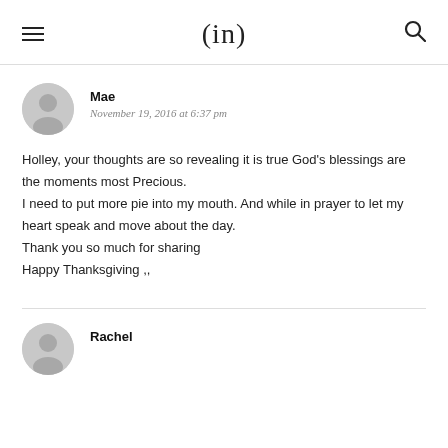(in)
Mae
November 19, 2016 at 6:37 pm
Holley, your thoughts are so revealing it is true God's blessings are the moments most Precious.
I need to put more pie into my mouth. And while in prayer to let my heart speak and move about the day.
Thank you so much for sharing
Happy Thanksgiving ,,
Rachel